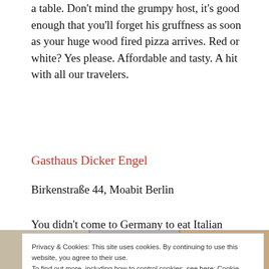a table. Don't mind the grumpy host, it's good enough that you'll forget his gruffness as soon as your huge wood fired pizza arrives. Red or white? Yes please. Affordable and tasty. A hit with all our travelers.
Gasthaus Dicker Engel
Birkenstraße 44, Moabit Berlin
You didn't come to Germany to eat Italian food? Ok, ok. Want some traditional German fare – try kitschy Gasthaus Dicker Engel. Hearty authentic dishes. Try the
Privacy & Cookies: This site uses cookies. By continuing to use this website, you agree to their use.
To find out more, including how to control cookies, see here: Cookie Policy

Close and accept
[Figure (photo): Three thumbnail photos in a strip at the bottom of the page — partial views of travel/food photos]